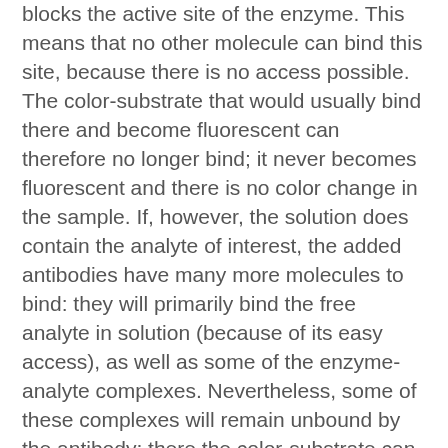blocks the active site of the enzyme. This means that no other molecule can bind this site, because there is no access possible. The color-substrate that would usually bind there and become fluorescent can therefore no longer bind; it never becomes fluorescent and there is no color change in the sample. If, however, the solution does contain the analyte of interest, the added antibodies have many more molecules to bind: they will primarily bind the free analyte in solution (because of its easy access), as well as some of the enzyme-analyte complexes. Nevertheless, some of these complexes will remain unbound by the antibody; there the color-substrate can bind and become fluorescent; the sample then changes color as well.